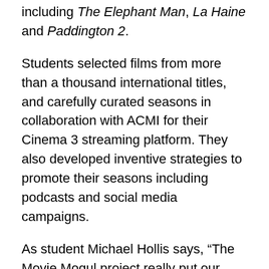including The Elephant Man, La Haine and Paddington 2.
Students selected films from more than a thousand international titles, and carefully curated seasons in collaboration with ACMI for their Cinema 3 streaming platform. They also developed inventive strategies to promote their seasons including podcasts and social media campaigns.
As student Michael Hollis says, “The Movie Mogul project really put our cinematic skills to the test. Scouring the gigantic database of films available to ACMI to find a common thread for our curation was an incredibly rewarding challenge.”
Screen Studies discipline leader Associate Professor Liam Burke says the growth of streaming services has fundamentally changed how audiences watch film and TV.
“Our course is very attentive to how technological changes